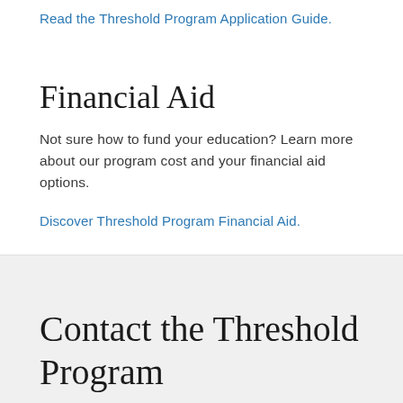Read the Threshold Program Application Guide.
Financial Aid
Not sure how to fund your education? Learn more about our program cost and your financial aid options.
Discover Threshold Program Financial Aid.
Contact the Threshold Program